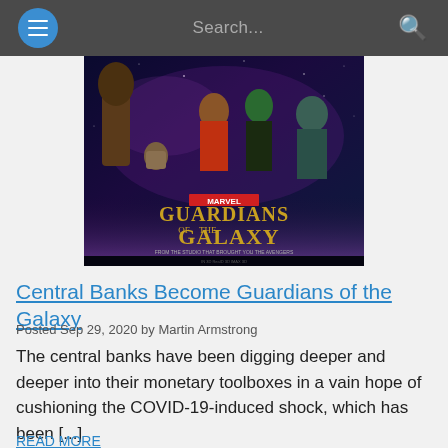Search...
[Figure (photo): Marvel Guardians of the Galaxy movie poster featuring the main characters (Groot, Rocket Raccoon, Star-Lord, Gamora, Drax) against a space background with the title 'GUARDIANS OF THE GALAXY' in gold text and 'MARVEL' logo at top]
Central Banks Become Guardians of the Galaxy
Posted Sep 29, 2020 by Martin Armstrong
The central banks have been digging deeper and deeper into their monetary toolboxes in a vain hope of cushioning the COVID-19-induced shock, which has been [...]
READ MORE